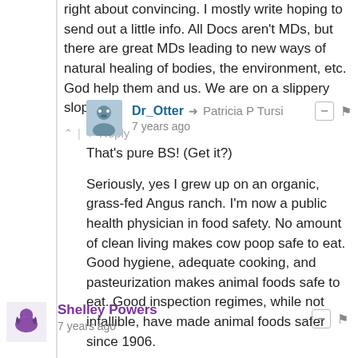right about convincing. I mostly write hoping to send out a little info. All Docs aren't MDs, but there are great MDs leading to new ways of natural healing of bodies, the environment, etc. God help them and us. We are on a slippery slope!
^ | v Reply
Dr_Otter → Patricia P Tursi
7 years ago
That's pure BS! (Get it?)

Seriously, yes I grew up on an organic, grass-fed Angus ranch. I'm now a public health physician in food safety. No amount of clean living makes cow poop safe to eat. Good hygiene, adequate cooking, and pasteurization makes animal foods safe to eat. Good inspection regimes, while not infallible, have made animal foods safer since 1906.
^ | v Reply
Shelley Powers
7 years ago